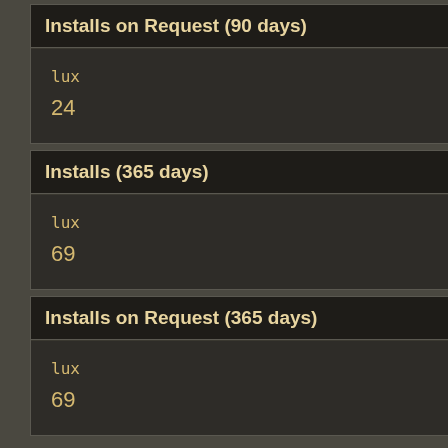Installs on Request (90 days)
lux
24
Installs (365 days)
lux
69
Installs on Request (365 days)
lux
69